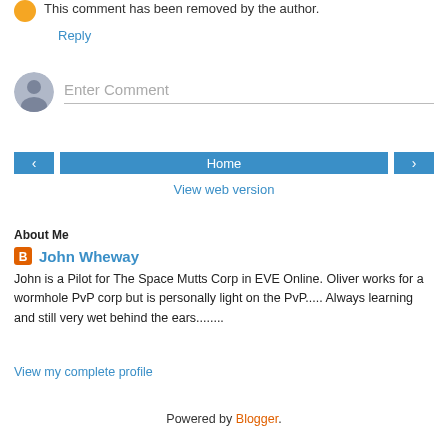This comment has been removed by the author.
Reply
Enter Comment
[Figure (other): Navigation buttons: left arrow, Home, right arrow; and View web version link]
About Me
John Wheway
John is a Pilot for The Space Mutts Corp in EVE Online. Oliver works for a wormhole PvP corp but is personally light on the PvP..... Always learning and still very wet behind the ears........
View my complete profile
Powered by Blogger.